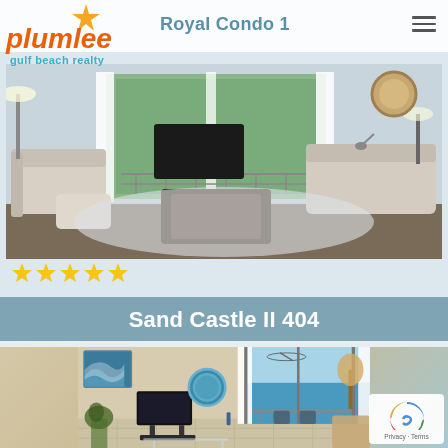[Figure (logo): Plumlee Gulf Beach Realty logo with orange star and text]
Royal Condo 1
[Figure (photo): Interior photo of a coastal-style living room with white sofas, area rug, and balcony/patio doors with green foliage visible outside]
[Figure (other): 5-star rating shown with 5 gold stars]
Sand Castle II 404
[Figure (photo): Interior photo of a beachfront condo living room with ocean view through sliding glass doors, TV on stand, blue circle mirror, and tropical decor]